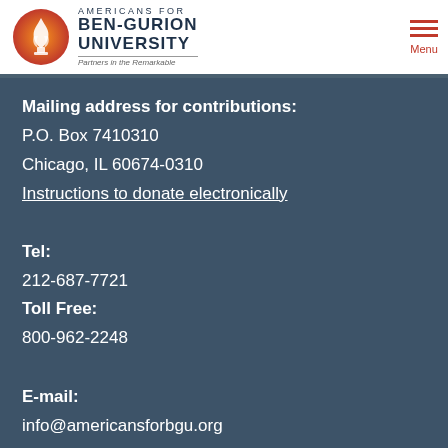Americans for Ben-Gurion University — Partners in the Remarkable | Menu
Mailing address for contributions:
P.O. Box 7410310
Chicago, IL 60674-0310
Instructions to donate electronically
Tel:
212-687-7721
Toll Free:
800-962-2248
E-mail:
info@americansforbgu.org